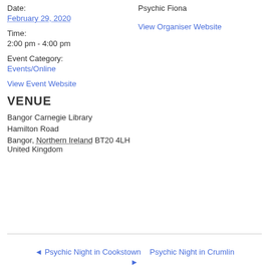Date:
February 29, 2020
Time:
2:00 pm - 4:00 pm
Event Category:
Events/Online
View Event Website
Psychic Fiona
View Organiser Website
VENUE
Bangor Carnegie Library
Hamilton Road
Bangor, Northern Ireland BT20 4LH United Kingdom
◂ Psychic Night in Cookstown    Psychic Night in Crumlin
▸